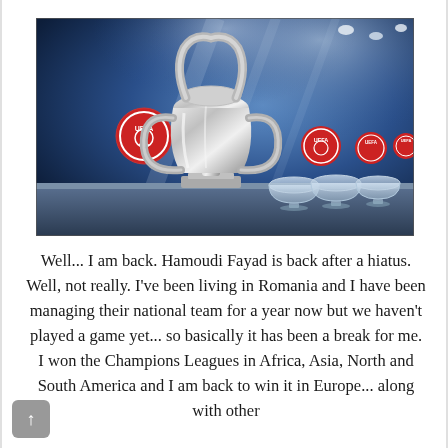[Figure (photo): UEFA Champions League trophy (silver cup with large handles) displayed on a table in front of a blue backdrop with UEFA logos, with three glass draw bowls visible on the right side of the table under stage lighting.]
Well... I am back. Hamoudi Fayad is back after a hiatus. Well, not really. I've been living in Romania and I have been managing their national team for a year now but we haven't played a game yet... so basically it has been a break for me. I won the Champions Leagues in Africa, Asia, North and South America and I am back to win it in Europe... along with other